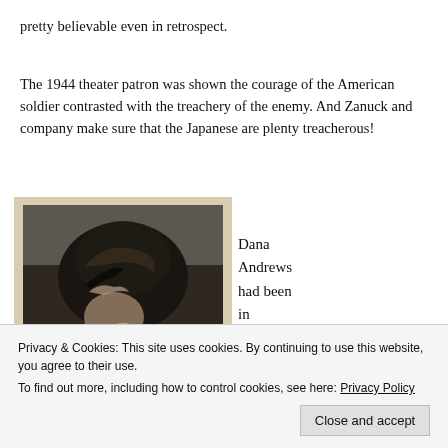pretty believable even in retrospect.
The 1944 theater patron was shown the courage of the American soldier contrasted with the treachery of the enemy. And Zanuck and company make sure that the Japanese are plenty treacherous!
[Figure (photo): Black and white photograph of a woman with dark hair styled up, seen from behind/profile]
Dana Andrews had been in Hollywood for four years and in high
Privacy & Cookies: This site uses cookies. By continuing to use this website, you agree to their use.
To find out more, including how to control cookies, see here: Privacy Policy
Close and accept